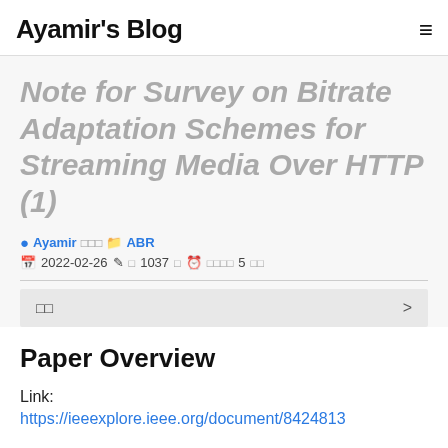Ayamir's Blog
Note for Survey on Bitrate Adaptation Schemes for Streaming Media Over HTTP (1)
Ayamir □□□ □ABR
📅 2022-02-26 ✏ □ 1037 □ 🕐 □□□□ 5 □□
□□
Paper Overview
Link:
https://ieeexplore.ieee.org/document/8424813